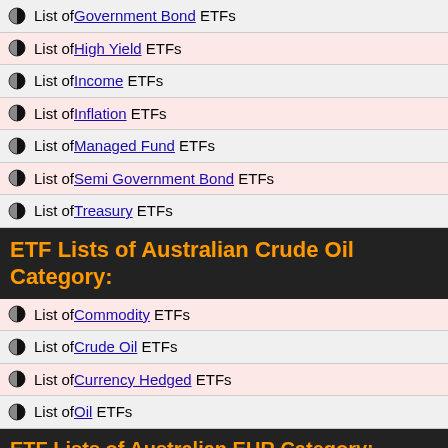List of Government Bond ETFs
List of High Yield ETFs
List of Income ETFs
List of Inflation ETFs
List of Managed Fund ETFs
List of Semi Government Bond ETFs
List of Treasury ETFs
ETF Lists of Australian Crude Oil Category:
List of Commodity ETFs
List of Crude Oil ETFs
List of Currency Hedged ETFs
List of Oil ETFs
ETF Lists of Australian EUR Category:
List of Currency ETFs
List of Euro ETFs